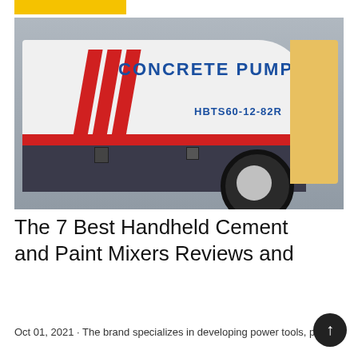[Figure (photo): A white concrete pump machine labeled 'CONCRETE PUMP' and 'HBTS60-12-82R' with red diagonal stripes, parked indoors, with a large rubber tire visible.]
The 7 Best Handheld Cement and Paint Mixers Reviews and
Oct 01, 2021 · The brand specializes in developing power tools, pet